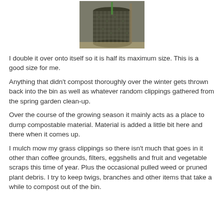[Figure (photo): A cylindrical wire mesh compost bin outdoors, showing its perforated metal structure.]
I double it over onto itself so it is half its maximum size. This is a good size for me.
Anything that didn't compost thoroughly over the winter gets thrown back into the bin as well as whatever random clippings gathered from the spring garden clean-up.
Over the course of the growing season it mainly acts as a place to dump compostable material. Material is added a little bit here and there when it comes up.
I mulch mow my grass clippings so there isn't much that goes in it other than coffee grounds, filters, eggshells and fruit and vegetable scraps this time of year. Plus the occasional pulled weed or pruned plant debris. I try to keep twigs, branches and other items that take a while to compost out of the bin.